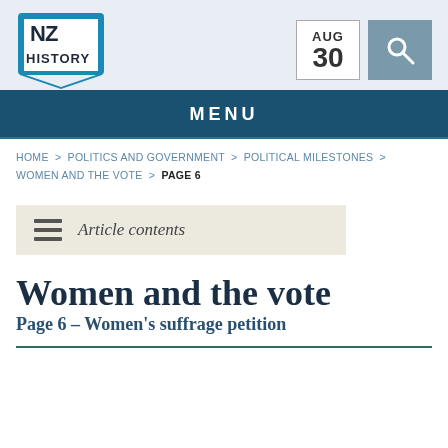[Figure (logo): NZ History logo — shield shape with NZ HISTORY text, teal border, chevron at bottom]
AUG 30
MENU
HOME > POLITICS AND GOVERNMENT > POLITICAL MILESTONES > WOMEN AND THE VOTE > PAGE 6
Article contents
Women and the vote
Page 6 – Women's suffrage petition